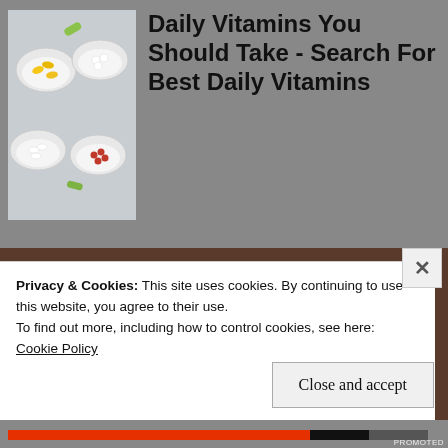[Figure (photo): Bowls of various vitamins and supplements on a gray background]
Daily Vitamins You Should Take - Search For Best Daily Vitamins
Yahoo! Search
[Figure (photo): Close-up portrait of an older Black man looking to the side with a serious expression]
Privacy & Cookies: This site uses cookies. By continuing to use this website, you agree to their use.
To find out more, including how to control cookies, see here: Cookie Policy
Close and accept